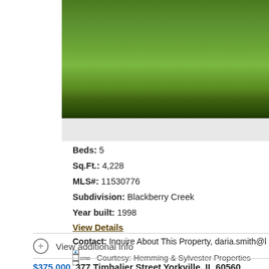[Figure (photo): Aerial or close-up photograph of a green grass lawn, cropped at top]
Beds: 5
Sq.Ft.: 4,228
MLS#: 11530776
Subdivision: Blackberry Creek
Year built: 1998
View Details
Contact: Inquire About This Property, daria.smith@kw.com, 630-
Courtesy: Hemming & Sylvester Properties
View additional info
$375,000  377 Timbalier Street Yorkville, IL 60560